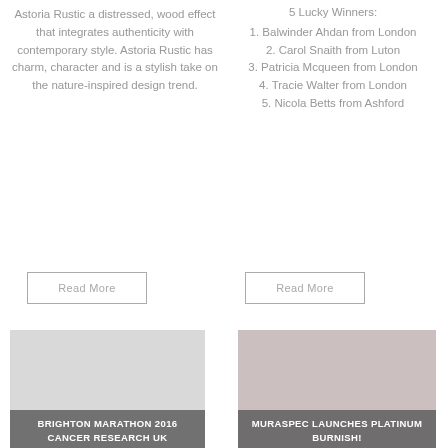Astoria Rustic a distressed, wood effect that integrates authenticity with contemporary style. Astoria Rustic has charm, character and is a stylish take on the nature-inspired design trend.
5 Lucky Winners:
1. Balwinder Ahdan from London
2. Carol Snaith from Luton
3. Patricia Mcqueen from London
4. Tracie Walter from London
5. Nicola Betts from Ashford
Read More
Read More
[Figure (photo): Light grey/beige placeholder image for Brighton Marathon 2016 Cancer Research UK article]
BRIGHTON MARATHON 2016 CANCER RESEARCH UK
[Figure (photo): Light grey/rose placeholder image for Muraspec Launches Platinum Burnish! article]
MURASPEC LAUNCHES PLATINUM BURNISH!